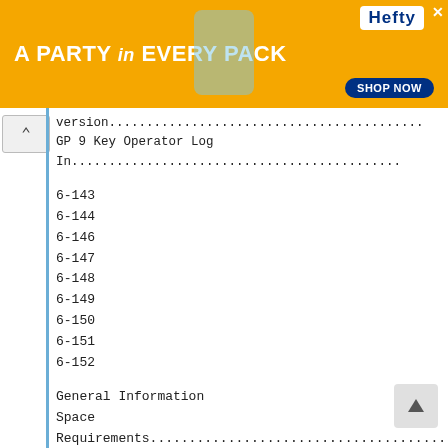[Figure (other): Hefty brand advertisement banner: orange background with text 'A PARTY in EVERY PACK', Hefty logo, party cup product image, and 'SHOP NOW' button]
version.........................................
GP 9 Key Operator Log
In.........................................
6-143
6-144
6-146
6-147
6-148
6-149
6-150
6-151
6-152
General Information
Space
Requirements.........................................
Product Specs.